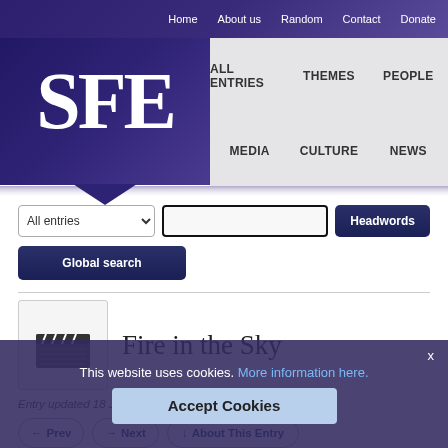Home   About us   Random   Contact   Donate
[Figure (logo): SFE logo - large white letters SFE on dark purple/blue background with pointed bottom]
ALL ENTRIES   THEMES   PEOPLE   MEDIA   CULTURE   NEWS
[Figure (other): Search interface with dropdown 'All entries', text input, Headwords button, and Global search button]
Fire in the Sky
Entry updated 18 January 2017. Tagged: Film.
Film (1993). Paramount. Directed by Robert Lieberman, screenplay Tracy Torme based on The Walton Experience by Travis Walton. Cast includes James Garner, Robert Patrick, Craig Sheffer and D B Sweeney. 109 minutes. Colour.
Based on a supposedly nonfictional account of the... member of a six-man forest-clearing team in Arizona, the film concentrates on local suspicions
This website uses cookies. More information here. Accept Cookies